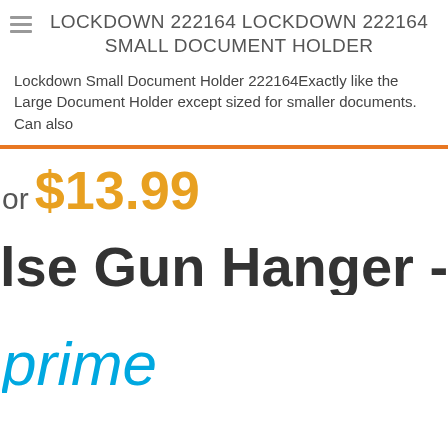LOCKDOWN 222164 LOCKDOWN 222164 SMALL DOCUMENT HOLDER
Lockdown Small Document Holder 222164Exactly like the Large Document Holder except sized for smaller documents. Can also
or $13.99
lse Gun Hanger -
[Figure (logo): Amazon Prime logo showing 'prime' in blue italic text]